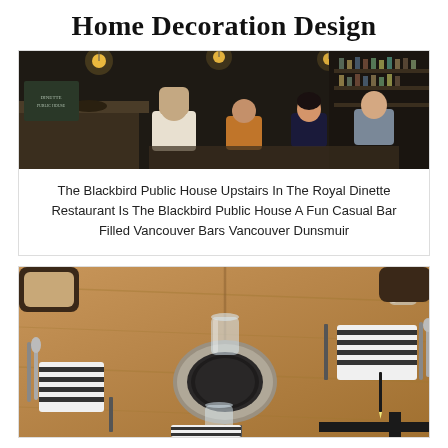Home Decoration Design
[Figure (photo): Interior of a bar/restaurant with people socializing. Warm Edison bulb lighting, dark bar counter on the left, people seated and standing, conversing. Bar shelves visible in background.]
The Blackbird Public House Upstairs In The Royal Dinette Restaurant Is The Blackbird Public House A Fun Casual Bar Filled Vancouver Bars Vancouver Dunsmuir
[Figure (photo): Close-up of a wooden restaurant table set with place settings including dark stone/slate plates on round woven trays, clear glass tumblers, cutlery, and black-and-white striped napkins.]